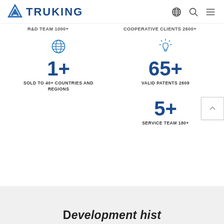TRUKING
R&D TEAM 1000+
COOPERATIVE CLIENTS 2600+
1+
SOLD TO 40+ COUNTRIES AND REGIONS
65+
VALID PATENTS 2609
5+
SERVICE TEAM 180+
Development history